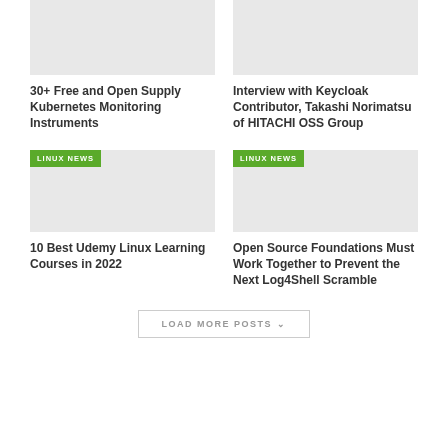[Figure (other): Gray placeholder image for article thumbnail (top-left)]
30+ Free and Open Supply Kubernetes Monitoring Instruments
[Figure (other): Gray placeholder image for article thumbnail (top-right)]
Interview with Keycloak Contributor, Takashi Norimatsu of HITACHI OSS Group
[Figure (other): Gray placeholder image with LINUX NEWS badge (bottom-left)]
10 Best Udemy Linux Learning Courses in 2022
[Figure (other): Gray placeholder image with LINUX NEWS badge (bottom-right)]
Open Source Foundations Must Work Together to Prevent the Next Log4Shell Scramble
LOAD MORE POSTS